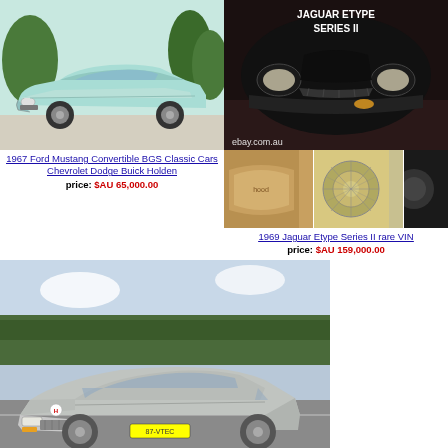[Figure (photo): 1967 Ford Mustang Convertible in light blue/mint color, front three-quarter view, parked on gravel with palm trees in background]
1967 Ford Mustang Convertible BGS Classic Cars Chevrolet Dodge Buick Holden
price: $AU 65,000.00
[Figure (photo): 1969 Jaguar Etype Series II in dark/black, front view close-up showing headlights and grille, with ebay.com.au watermark, plus three detail thumbnail photos below]
1969 Jaguar Etype Series II rare VIN
price: $AU 159,000.00
[Figure (photo): 1987 Honda Civic silver/grey hatchback, front three-quarter view, parked in a car park with trees in background]
1987 Honda Civic, Factory Sunroof